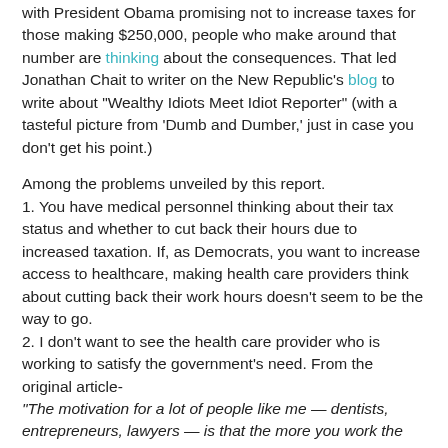with President Obama promising not to increase taxes for those making $250,000, people who make around that number are thinking about the consequences. That led Jonathan Chait to writer on the New Republic's blog to write about "Wealthy Idiots Meet Idiot Reporter" (with a tasteful picture from 'Dumb and Dumber,' just in case you don't get his point.)
Among the problems unveiled by this report.
1. You have medical personnel thinking about their tax status and whether to cut back their hours due to increased taxation. If, as Democrats, you want to increase access to healthcare, making health care providers think about cutting back their work hours doesn't seem to be the way to go.
2. I don't want to see the health care provider who is working to satisfy the government's need. From the original article- "The motivation for a lot of people like me — dentists, entrepreneurs, lawyers — is that the more you work the more money you make," said [Dr. Sharon] Poczatek. "But if I'm going to be working just to give it back to the government — it's de-motivating and demoralizing."